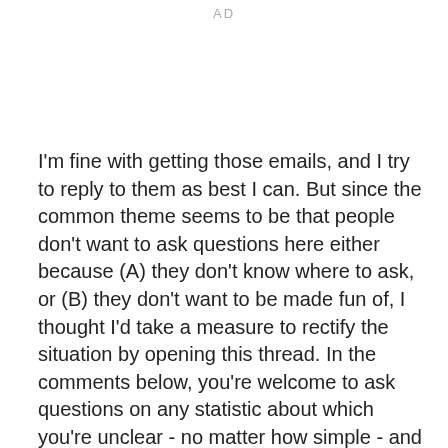AD
I'm fine with getting those emails, and I try to reply to them as best I can. But since the common theme seems to be that people don't want to ask questions here either because (A) they don't know where to ask, or (B) they don't want to be made fun of, I thought I'd take a measure to rectify the situation by opening this thread. In the comments below, you're welcome to ask questions on any statistic about which you're unclear - no matter how simple - and we'll see to it that you get a good answer. Don't get FIP? Not sure what counts as a good groundball percentage? Curious about the